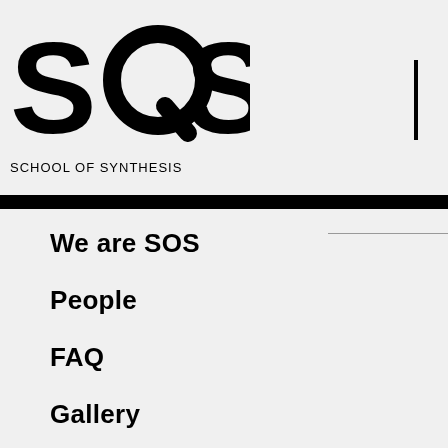[Figure (logo): SOS School of Synthesis logo — large bold 'SOS' letters with stylized Q replacing the O in the middle, followed by text 'SCHOOL OF SYNTHESIS' below]
We are SOS
People
FAQ
Gallery
Blog